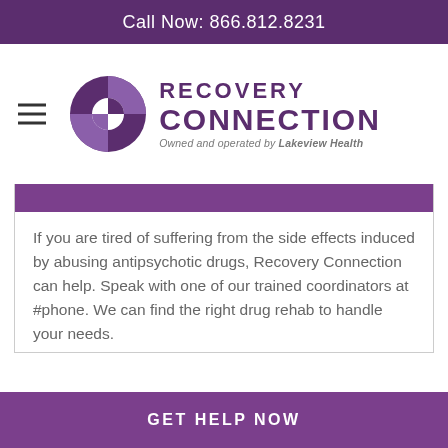Call Now: 866.812.8231
[Figure (logo): Recovery Connection logo — circular quadrant icon in purple/dark-purple with text 'RECOVERY CONNECTION' and tagline 'Owned and operated by Lakeview Health']
If you are tired of suffering from the side effects induced by abusing antipsychotic drugs, Recovery Connection can help. Speak with one of our trained coordinators at #phone. We can find the right drug rehab to handle your needs.
GET HELP NOW